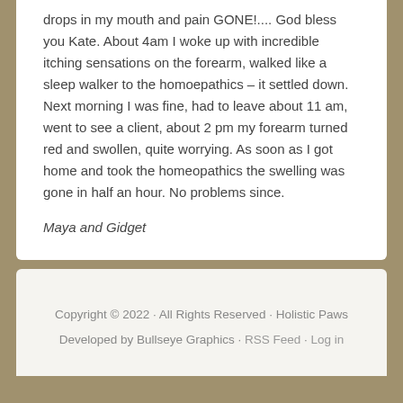drops in my mouth and pain GONE!.... God bless you Kate. About 4am I woke up with incredible itching sensations on the forearm, walked like a sleep walker to the homoepathics – it settled down. Next morning I was fine, had to leave about 11 am, went to see a client, about 2 pm my forearm turned red and swollen, quite worrying. As soon as I got home and took the homeopathics the swelling was gone in half an hour. No problems since.
Maya and Gidget
Copyright © 2022 · All Rights Reserved · Holistic Paws
Developed by Bullseye Graphics · RSS Feed · Log in